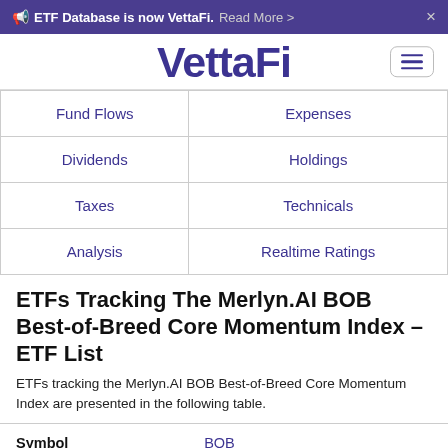ETF Database is now VettaFi. Read More >
[Figure (logo): VettaFi logo in dark purple with stylized V lines]
| Fund Flows | Expenses |
| Dividends | Holdings |
| Taxes | Technicals |
| Analysis | Realtime Ratings |
ETFs Tracking The Merlyn.AI BOB Best-of-Breed Core Momentum Index – ETF List
ETFs tracking the Merlyn.AI BOB Best-of-Breed Core Momentum Index are presented in the following table.
| Symbol | BOB |
| --- | --- |
| Symbol | BOB |